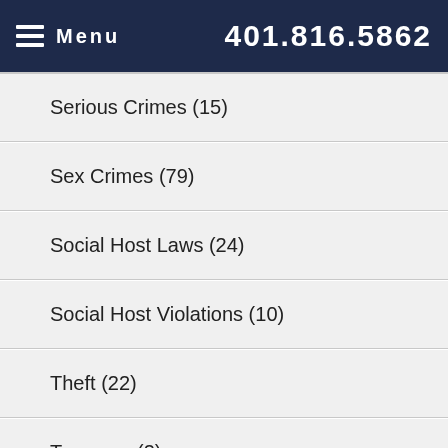Menu  401.816.5862
Serious Crimes (15)
Sex Crimes (79)
Social Host Laws (24)
Social Host Violations (10)
Theft (22)
Trespass (2)
Weapon Charges (2)